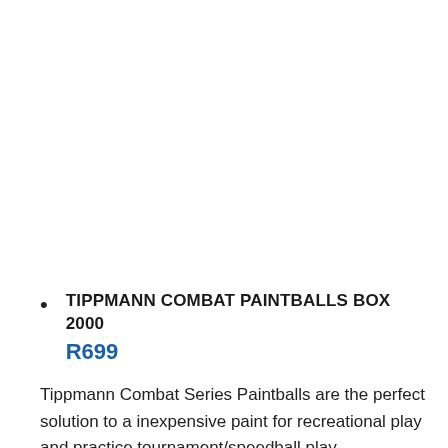TIPPMANN COMBAT PAINTBALLS BOX 2000
R699
Tippmann Combat Series Paintballs are the perfect solution to a inexpensive paint for recreational play and practice tournament/speedball play.